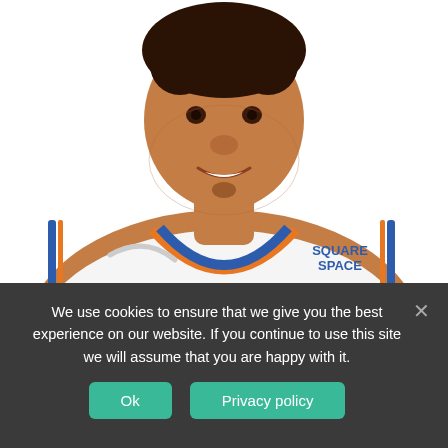[Figure (photo): Head and shoulders portrait of a young male basketball player smiling, wearing a white New York Knicks NBA jersey with blue and orange trim and a Squarespace sponsor logo. White background.]
We use cookies to ensure that we give you the best experience on our website. If you continue to use this site we will assume that you are happy with it.
Ok
Privacy policy